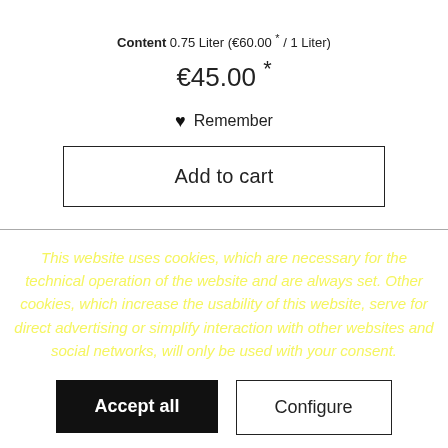Content 0.75 Liter (€60.00 * / 1 Liter)
€45.00 *
♥ Remember
Add to cart
This website uses cookies, which are necessary for the technical operation of the website and are always set. Other cookies, which increase the usability of this website, serve for direct advertising or simplify interaction with other websites and social networks, will only be used with your consent.
Accept all
Configure